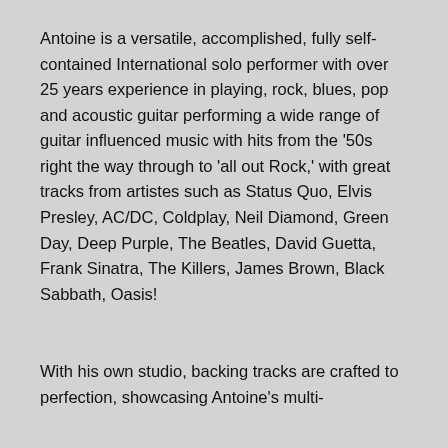Antoine is a versatile, accomplished, fully self-contained International solo performer with over 25 years experience in playing, rock, blues, pop and acoustic guitar performing a wide range of guitar influenced music with hits from the '50s right the way through to 'all out Rock,' with great tracks from artistes such as Status Quo, Elvis Presley, AC/DC, Coldplay, Neil Diamond, Green Day, Deep Purple, The Beatles, David Guetta, Frank Sinatra, The Killers, James Brown, Black Sabbath, Oasis!
With his own studio, backing tracks are crafted to perfection, showcasing Antoine's multi-